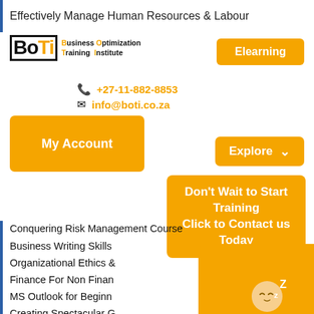Effectively Manage Human Resources & Labour
[Figure (logo): Business Optimization Training Institute (BOTI) logo with orange and black text]
Elearning
+27-11-882-8853
info@boti.co.za
My Account
Explore
Don't Wait to Start Training
Click to Contact us Today
Conquering Risk Management Course
Business Writing Skills
Organizational Ethics &
Finance For Non Finan
MS Outlook for Beginn
Creating Spectacular G
[Figure (illustration): Chat widget showing sleeping face emoji with Z's and 'We're offline' text with Leave a message link]